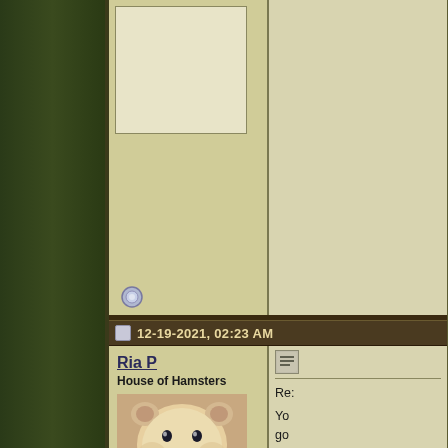[Figure (screenshot): Forum post screenshot showing two post areas. Top area has a white/cream avatar box placeholder and user info column on the left, with post text (truncated) on the right. An offline status indicator icon is visible. Bottom area shows a second post by 'Ria P' from 'House of Hamsters' with a hamster avatar photo, join date Mar 2019, location Wiltshire UK, 6503 posts, and partial post text on the right.]
Ria P
House of Hamsters
Join Date: Mar 2019
Location: Wiltshire, UK
Posts: 6,503
12-19-2021, 02:23 AM